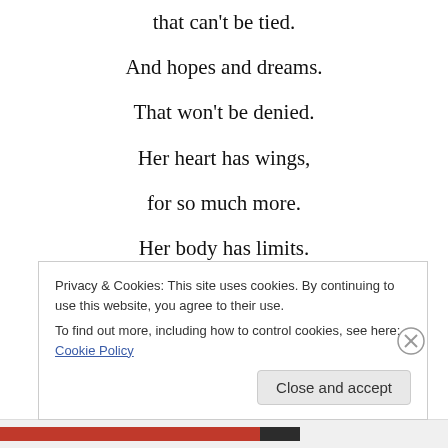that can't be tied.
And hopes and dreams.
That won't be denied.
Her heart has wings,
for so much more.
Her body has limits.
But her spirit will soar...
Privacy & Cookies: This site uses cookies. By continuing to use this website, you agree to their use.
To find out more, including how to control cookies, see here: Cookie Policy